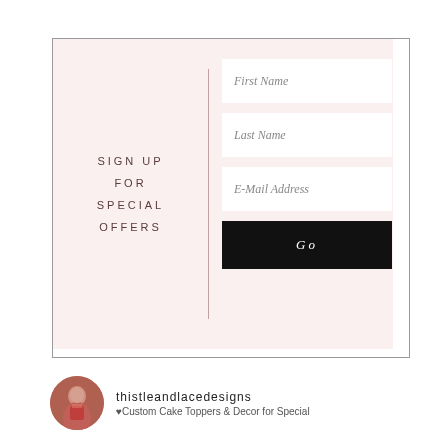[Figure (screenshot): Sign up form with pink background, three input fields (First Name, Last Name, E-Mail Address) and a black Go button]
SIGN UP FOR SPECIAL OFFERS
First Name
Last Name
E-Mail Address
Go
[Figure (photo): Circular profile photo of a person]
thistleandlacedesigns
♥Custom Cake Toppers & Decor for Special